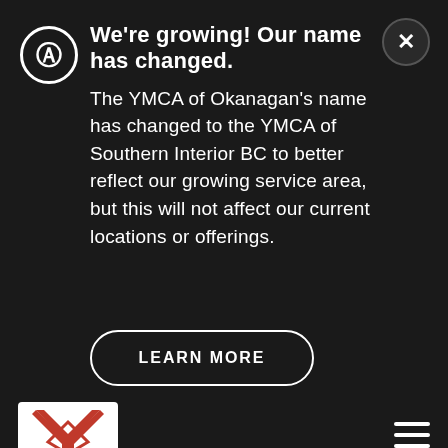We're growing! Our name has changed.
The YMCA of Okanagan's name has changed to the YMCA of Southern Interior BC to better reflect our growing service area, but this will not affect our current locations or offerings.
LEARN MORE
[Figure (logo): YMCA logo with red Y symbol and triangular chevron shape on dark background]
There wasn't much time to dwell on my situation, there was so much on my plate and I could only move forward. I had to break everything in our lives down and rebuild a new life from the ground up. I